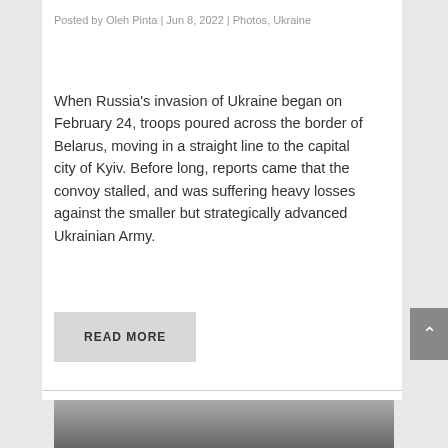Posted by Oleh Pinta | Jun 8, 2022 | Photos, Ukraine
When Russia’s invasion of Ukraine began on February 24, troops poured across the border of Belarus, moving in a straight line to the capital city of Kyiv. Before long, reports came that the convoy stalled, and was suffering heavy losses against the smaller but strategically advanced Ukrainian Army.
READ MORE
[Figure (photo): A man with a mustache standing in a damaged building interior, appears to be war-related damage in Ukraine]